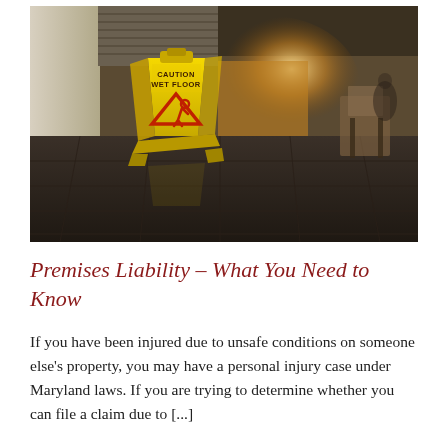[Figure (photo): A yellow 'CAUTION WET FLOOR' warning sign with a slip hazard icon on a dark tiled floor in a blurred corridor or hallway background with warm ambient lighting.]
Premises Liability – What You Need to Know
If you have been injured due to unsafe conditions on someone else's property, you may have a personal injury case under Maryland laws. If you are trying to determine whether you can file a claim due to [...]